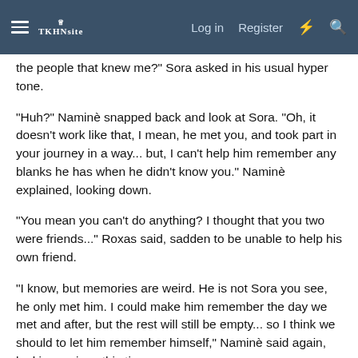Log in  Register
the people that knew me?" Sora asked in his usual hyper tone.
"Huh?" Naminè snapped back and look at Sora. "Oh, it doesn't work like that, I mean, he met you, and took part in your journey in a way... but, I can't help him remember any blanks he has when he didn't know you." Naminè explained, looking down.
"You mean you can't do anything? I thought that you two were friends..." Roxas said, sadden to be unable to help his own friend.
"I know, but memories are weird. He is not Sora you see, he only met him. I could make him remember the day we met and after, but the rest will still be empty... so I think we should to let him remember himself," Naminè said again, looking serious this time.
"That's the best thing we could do by now," Riku added and walked away.